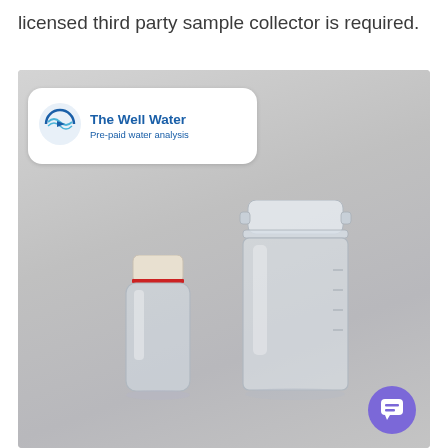licensed third party sample collector is required.
[Figure (photo): Photo of two water sample collection containers: a small glass vial with a white cap and red seal on the left, and a larger translucent plastic container with a flip-top lid on the right. In the upper-left corner of the photo is a white rounded-rectangle card showing the 'The Well Water' logo (blue circular icon with water/wave design) and the text 'The Well Water / Pre-paid water analysis'. A purple chat button icon appears in the bottom-right corner of the image.]